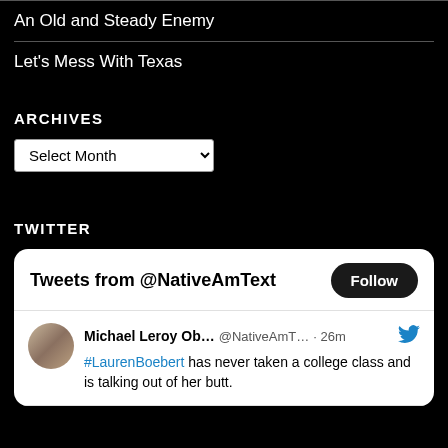An Old and Steady Enemy
Let’s Mess With Texas
ARCHIVES
Select Month (dropdown)
TWITTER
[Figure (screenshot): Twitter widget showing 'Tweets from @NativeAmText' with a Follow button, and a tweet by Michael Leroy Ob... @NativeAmT... 26m: '#LaurenBoebert has never taken a college class and is talking out of her butt.']